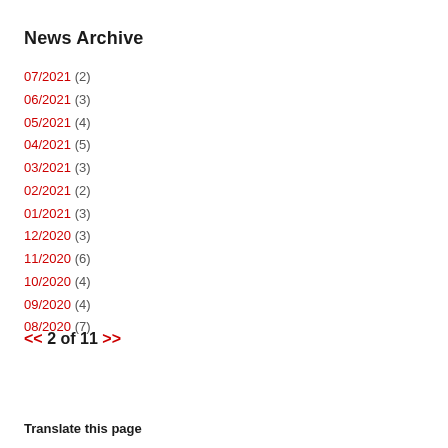News Archive
07/2021 (2)
06/2021 (3)
05/2021 (4)
04/2021 (5)
03/2021 (3)
02/2021 (2)
01/2021 (3)
12/2020 (3)
11/2020 (6)
10/2020 (4)
09/2020 (4)
08/2020 (7)
<< 2 of 11 >>
Translate this page